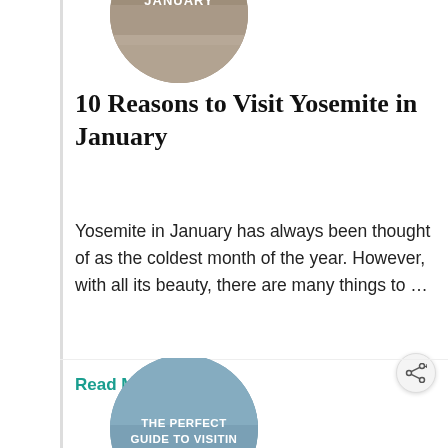[Figure (photo): Circular thumbnail image with text overlay reading 'YOSEMITE IN JANUARY' on a nature background]
10 Reasons to Visit Yosemite in January
Yosemite in January has always been thought of as the coldest month of the year. However, with all its beauty, there are many things to …
Read More
[Figure (photo): Circular thumbnail image with text overlay reading 'THE PERFECT GUIDE TO VISITING YOSEMITE IN' on a sky/nature background]